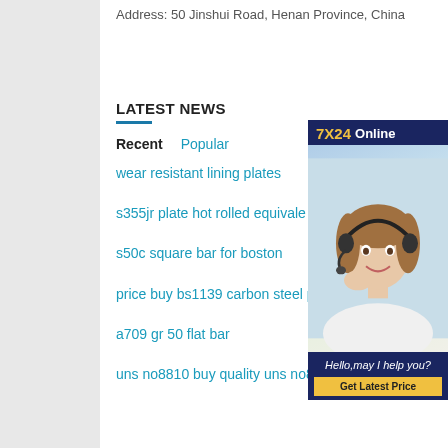Address: 50 Jinshui Road, Henan Province, China
LATEST NEWS
Recent   Popular
wear resistant lining plates
s355jr plate hot rolled equivale
s50c square bar for boston
price buy bs1139 carbon steel pipe
a709 gr 50 flat bar
uns no8810 buy quality uns no8810
[Figure (photo): Customer service representative wearing a headset, smiling. Ad banner with '7X24 Online', 'Hello, may I help you?' and 'Get Latest Price' button.]